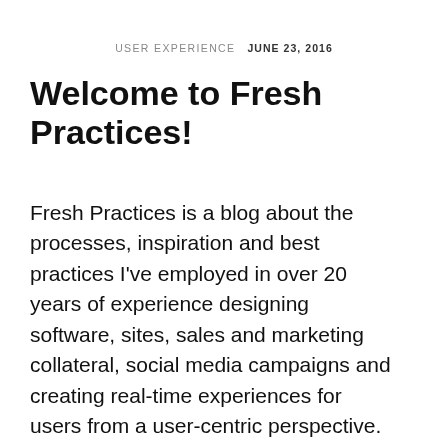USER EXPERIENCE   JUNE 23, 2016
Welcome to Fresh Practices!
Fresh Practices is a blog about the processes, inspiration and best practices I've employed in over 20 years of experience designing software, sites, sales and marketing collateral, social media campaigns and creating real-time experiences for users from a user-centric perspective.